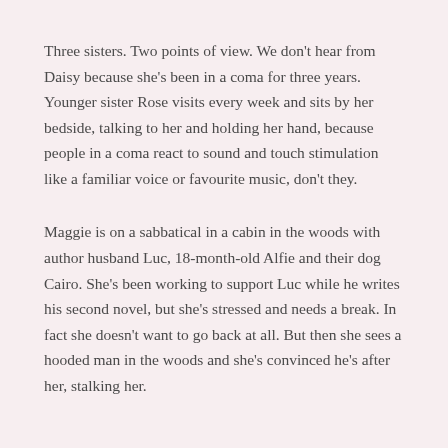Three sisters. Two points of view. We don't hear from Daisy because she's been in a coma for three years. Younger sister Rose visits every week and sits by her bedside, talking to her and holding her hand, because people in a coma react to sound and touch stimulation like a familiar voice or favourite music, don't they.
Maggie is on a sabbatical in a cabin in the woods with author husband Luc, 18-month-old Alfie and their dog Cairo. She's been working to support Luc while he writes his second novel, but she's stressed and needs a break. In fact she doesn't want to go back at all. But then she sees a hooded man in the woods and she's convinced he's after her, stalking her.